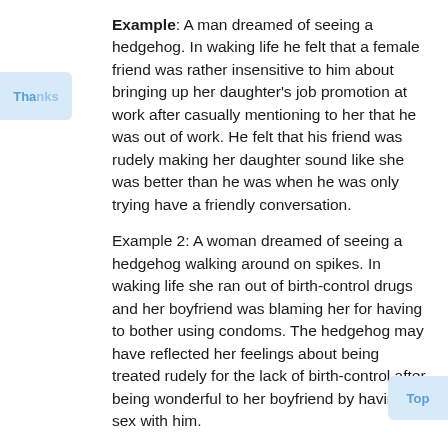Example: A man dreamed of seeing a hedgehog. In waking life he felt that a female friend was rather insensitive to him about bringing up her daughter's job promotion at work after casually mentioning to her that he was out of work. He felt that his friend was rudely making her daughter sound like she was better than he was when he was only trying have a friendly conversation.
Example 2: A woman dreamed of seeing a hedgehog walking around on spikes. In waking life she ran out of birth-control drugs and her boyfriend was blaming her for having to bother using condoms. The hedgehog may have reflected her feelings about being treated rudely for the lack of birth-control after being wonderful to her boyfriend by having sex with him.
Hedges
To dream of a hedge represents an aspect of your personality that is secretive or hiding something. A person or situation that is keeping information from you or doesn't want you noticing something. A bush may also reflect some sort of